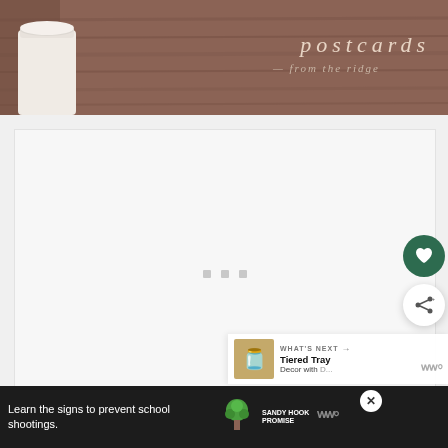[Figure (photo): Blog header banner showing wooden deck background with a white cylindrical candle on the left and cursive text 'postcards from the ridge' on the right in light beige color]
[Figure (screenshot): Loading/blank white content area with three small gray square loading indicator dots in the center]
[Figure (infographic): Dark green circular heart/save button and white circular share button with share icon on the right side]
[Figure (screenshot): What's Next panel showing thumbnail and text 'Tiered Tray Decor with...' with WW logo]
[Figure (screenshot): Black advertisement bar at bottom: 'Learn the signs to prevent school shootings.' with Sandy Hook Promise tree logo and close X button]